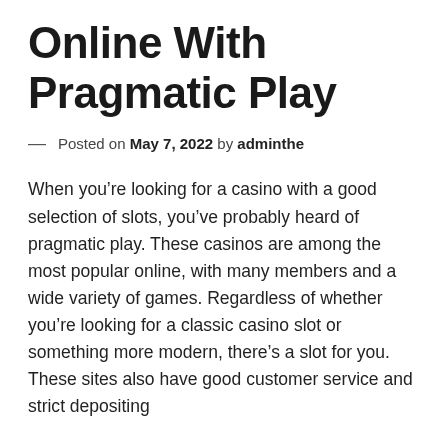Online With Pragmatic Play
— Posted on May 7, 2022 by adminthe
When you’re looking for a casino with a good selection of slots, you’ve probably heard of pragmatic play. These casinos are among the most popular online, with many members and a wide variety of games. Regardless of whether you’re looking for a classic casino slot or something more modern, there’s a slot for you. These sites also have good customer service and strict depositing